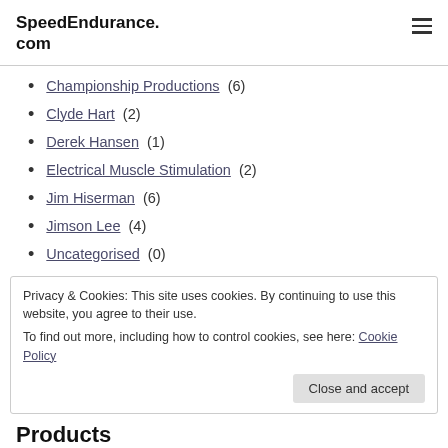SpeedEndurance.com
Championship Productions (6)
Clyde Hart (2)
Derek Hansen (1)
Electrical Muscle Stimulation (2)
Jim Hiserman (6)
Jimson Lee (4)
Uncategorised (0)
Privacy & Cookies: This site uses cookies. By continuing to use this website, you agree to their use. To find out more, including how to control cookies, see here: Cookie Policy
Products